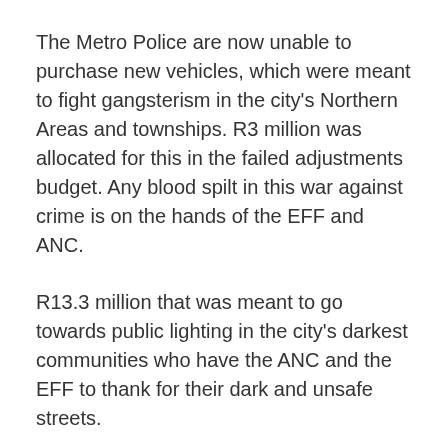The Metro Police are now unable to purchase new vehicles, which were meant to fight gangsterism in the city's Northern Areas and townships. R3 million was allocated for this in the failed adjustments budget. Any blood spilt in this war against crime is on the hands of the EFF and ANC.
R13.3 million that was meant to go towards public lighting in the city's darkest communities who have the ANC and the EFF to thank for their dark and unsafe streets.
R45 million was meant to be adjusted to improve sanitation and water infrastructure in Motherwell, Wells Estate, Khayamnandi and KwaLanga with a further R39 million budgeted for water leaks detection. The opposition chose to reject this important service delivery